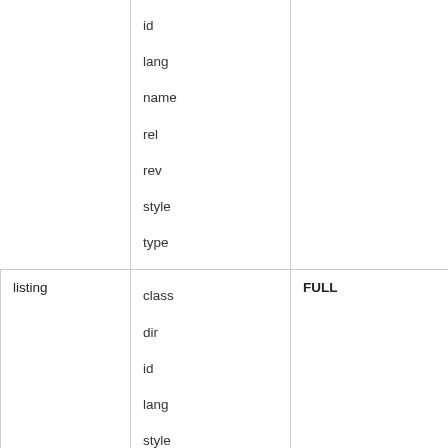|  |  |  |
| --- | --- | --- |
|  | id

lang

name

rel

rev

style

type |  |
| listing | class

dir

id

lang

style | FULL |